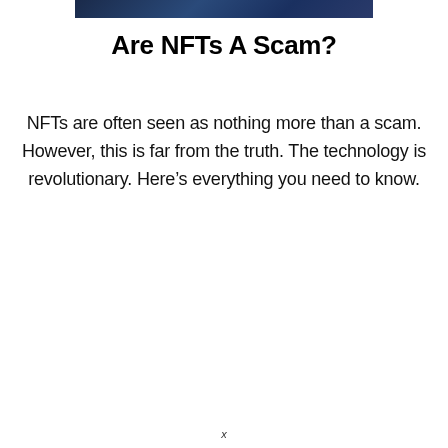[Figure (photo): Partial view of a dark blue digital/blockchain themed image at the top of the page]
Are NFTs A Scam?
NFTs are often seen as nothing more than a scam. However, this is far from the truth. The technology is revolutionary. Here’s everything you need to know.